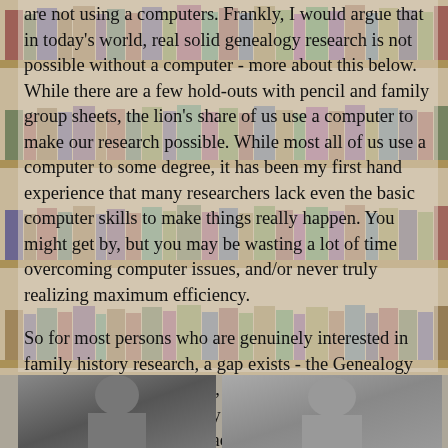are not using a computers. Frankly, I would argue that in today's world, real solid genealogy research is not possible without a computer - more about this below. While there are a few hold-outs with pencil and family group sheets, the lion's share of us use a computer to make our research possible. While most all of us use a computer to some degree, it has been my first hand experience that many researchers lack even the basic computer skills to make things really happen. You might get by, but you may be wasting a lot of time overcoming computer issues, and/or never truly realizing maximum efficiency.
So for most persons who are genuinely interested in family history research, a gap exists - the Genealogy Generation Gap. Whereas, a majority of people activity involved in family history work are from the older set, they generally lack a requisite computer skills necessary to do anymore than basic data entry. Their hearts are in the right place, and they might even have years of experience, but are missing the boat at the keyboard.
[Figure (photo): Two black and white photographs at the bottom of the page, partially visible. Left photo appears to be of a person, right photo appears to be of a person at a desk or with equipment.]